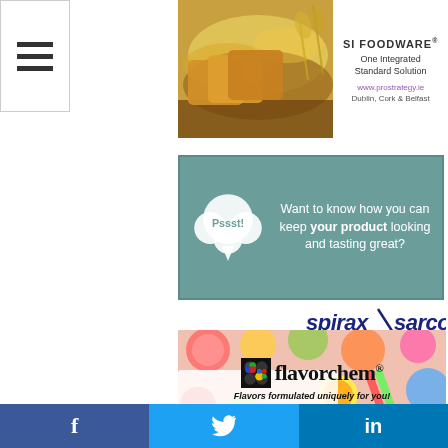[Figure (screenshot): Hamburger menu icon (three horizontal bars) on white background with border]
[Figure (screenshot): SI Foodware advertisement with bread photo on left and text 'SI FOODWARE One Integrated Standard Solution www.prostrategy.ie Dublin, Cork & Belfast' on right]
[Figure (screenshot): Spirax Sarco advertisement banner with teal/green background, speech bubble with 'Pssst!' and text 'Want to know how you can keep your product looking and tasting great?' with Spirax Sarco logo]
[Figure (screenshot): Flavorchem advertisement with colorful candy background, Flavorchem logo and tagline 'Flavors formulated uniquely for you!']
[Figure (screenshot): Partial GoGames banner advertisement with dark blue background]
[Figure (screenshot): Social media sharing bar at bottom with Facebook, Twitter, and LinkedIn icons/buttons]